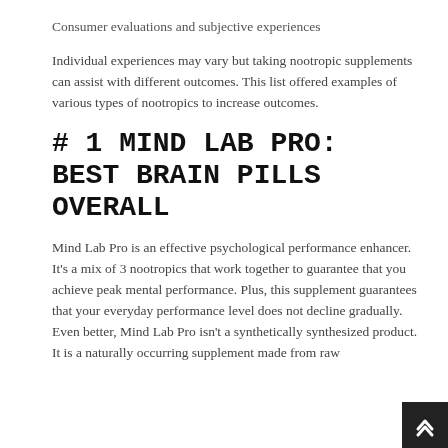Consumer evaluations and subjective experiences
Individual experiences may vary but taking nootropic supplements can assist with different outcomes. This list offered examples of various types of nootropics to increase outcomes.
# 1 MIND LAB PRO: BEST BRAIN PILLS OVERALL
Mind Lab Pro is an effective psychological performance enhancer. It's a mix of 3 nootropics that work together to guarantee that you achieve peak mental performance. Plus, this supplement guarantees that your everyday performance level does not decline gradually. Even better, Mind Lab Pro isn't a synthetically synthesized product. It is a naturally occurring supplement made from raw